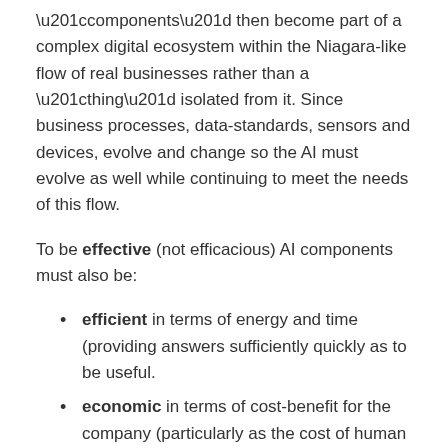“components” then become part of a complex digital ecosystem within the Niagara-like flow of real businesses rather than a “thing” isolated from it. Since business processes, data-standards, sensors and devices, evolve and change so the AI must evolve as well while continuing to meet the needs of this flow.
To be effective (not efficacious) AI components must also be:
efficient in terms of energy and time (providing answers sufficiently quickly as to be useful.
economic in terms of cost-benefit for the company (particularly as the cost of human tagging of training data can be extreme),